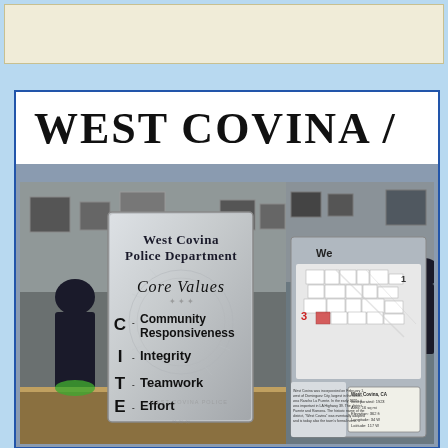[Figure (photo): Beige/cream colored top strip banner area]
WEST COVINA /
[Figure (photo): West Covina Police Department Core Values sign displayed at an exhibit booth. The sign reads: West Covina Police Department Core Values - C Community Responsiveness, I Integrity, T Teamwork, E Effort. A police badge watermark is visible behind the text. People are standing nearby.]
[Figure (photo): Partial view of a second exhibit display showing a map of West Covina with numbered regions and an information panel with text about West Covina CA including incorporation date 1923, area, elevation, longitude and latitude details.]